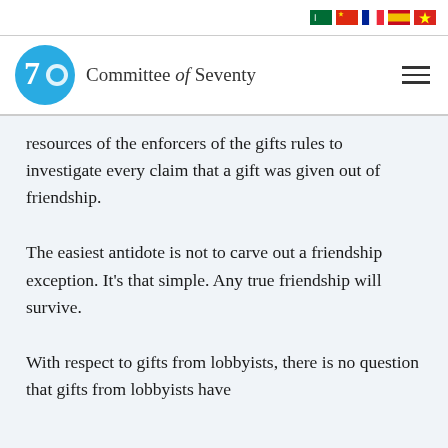[Flag icons: Arabic, Chinese, French, Spanish, Vietnamese]
[Figure (logo): Committee of Seventy logo: blue circular icon with '7C' and text 'Committee of Seventy']
resources of the enforcers of the gifts rules to investigate every claim that a gift was given out of friendship.
The easiest antidote is not to carve out a friendship exception. It’s that simple. Any true friendship will survive.
With respect to gifts from lobbyists, there is no question that gifts from lobbyists have